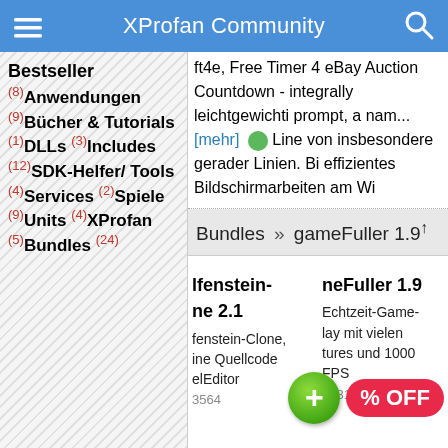XProfan Community
Bestseller
(8) Anwendungen
(9) Bücher & Tutorials
(1) DLLs (3) Includes
(12) SDK-Helfer/ Tools
(4) Services (2) Spiele
(9) Units (4) XProfan
(5) Bundles (24)
ft4e, Free Timer 4 eBay Auction Countdown - integrally leichtgewichti prompt, a nam... [mehr]   Line von insbesondere gerader Linien. Bi effizientes Bildschirmarbeiten am Wi
Bundles » gameFuller 1.9↑
lfenstein-
ne 2.1
fenstein-Clone,
ine Quellcode
elEditor
3564
neFuller 1.9
Echtzeit-Game-
lay mit vielen
tures und 1000 FPS
9081